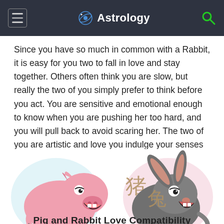Astrology
Since you have so much in common with a Rabbit, it is easy for you two to fall in love and stay together. Others often think you are slow, but really the two of you simply prefer to think before you act. You are sensitive and emotional enough to know when you are pushing her too hard, and you will pull back to avoid scaring her. The two of you are artistic and love you indulge your senses in art. You are likely to agree on decoration for your home.
[Figure (illustration): Cartoon illustration of a pink pig with Chinese character for pig (猪) and a grey rabbit with Chinese character for rabbit (兔), both drawn in a funny cartoon style]
Pig and Rabbit Love Compatibility